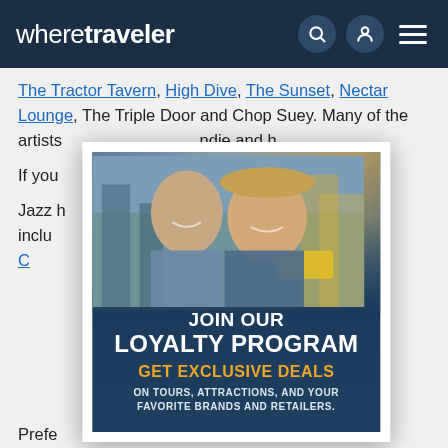wheretraveler
The Tractor Tavern, High Dive, The Sunset, Nectar Lounge, The Triple Door and Chop Suey. Many of the artists ... indie and h...
If you ... actor Tave...
Jazz h... that inclu... nd Jazz C... into blues...
[Figure (advertisement): JOIN OUR LOYALTY PROGRAM - GET EXCLUSIVE DEALS ON TOURS, ATTRACTIONS, AND YOUR FAVORITE BRANDS AND RETAILERS. Advertisement with couple smiling in urban setting.]
Prefe... at Bena... Benaroya Hall hosts other events, too, including the occasional contemporary pop act. Seattle also has a few choirs that perform on a regular basis, including